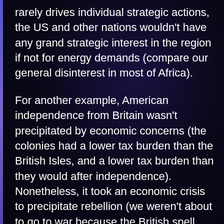rarely drives individual strategic actions, the US and other nations wouldn't have any grand strategic interest in the region if not for energy demands (compare our general disinterest in most of Africa).
For another example, American independence from Britain wasn't precipitated by economic concerns (the colonies had a lower tax burden than the British Isles, and a lower tax burden than they would after independence). Nonetheless, it took an economic crisis to precipitate rebellion (we weren't about to go to war because the British spell things wrong), and Britain only cared about colonies in the first place because they needed raw materials and expanded markets